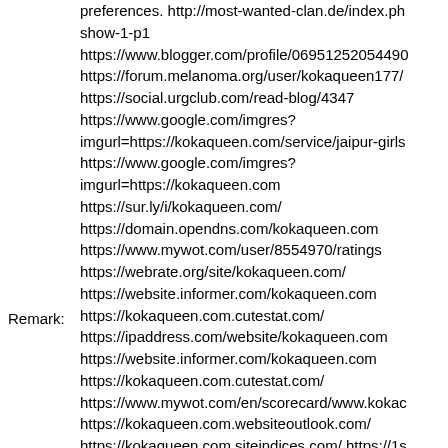Remark:
preferences. http://most-wanted-clan.de/index.ph show-1-p1 https://www.blogger.com/profile/06951252054490 https://forum.melanoma.org/user/kokaqueen177/ https://social.urgclub.com/read-blog/4347 https://www.google.com/imgres? imgurl=https://kokaqueen.com/service/jaipur-girls https://www.google.com/imgres? imgurl=https://kokaqueen.com https://sur.ly/i/kokaqueen.com/ https://domain.opendns.com/kokaqueen.com https://www.mywot.com/user/8554970/ratings https://webrate.org/site/kokaqueen.com/ https://website.informer.com/kokaqueen.com https://kokaqueen.com.cutestat.com/ https://ipaddress.com/website/kokaqueen.com https://website.informer.com/kokaqueen.com https://kokaqueen.com.cutestat.com/ https://www.mywot.com/en/scorecard/www.kokac https://kokaqueen.com.websiteoutlook.com/ https://kokaqueen.com.siteindices.com/ https://1s tools.blogspot.com/2014/06/ping-list-2014.html? showComment=1644050429308#c12041735552 https://kokaqueen.com.siteindices.com/ https://checkwebsitetools.com/report/kokaqueen